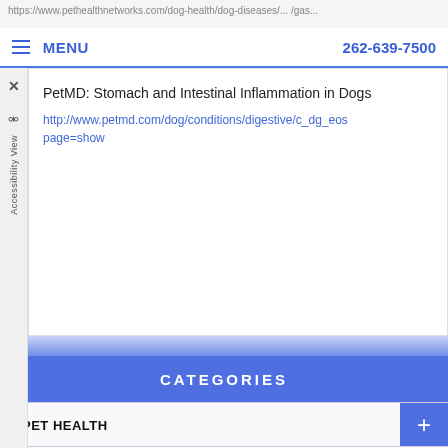https://www.pethealthnetworks.com/dog-health/dog-diseases/... MENU 262-639-7500
PetMD: Stomach and Intestinal Inflammation in Dogs
http://www.petmd.com/dog/conditions/digestive/c_dg_eos... page=show
CATEGORIES
PET HEALTH
TODAY'S VETERINARIAN
CHOOSING YOUR PET